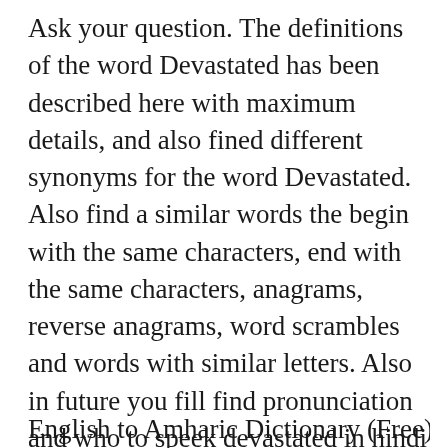Ask your question. The definitions of the word Devastated has been described here with maximum details, and also fined different synonyms for the word Devastated. Also find a similar words the begin with the same characters, end with the same characters, anagrams, reverse anagrams, word scrambles and words with similar letters. Also in future you fill find pronunciation and who to speek devastated in hindi and english. There are total 1 hindi meaning and definitions have been listed for the english word 'devastated'. gift. How to pronounce devastated in American English, in context UK accent. The correct meaning of Devastated in Hindi is                . 1.
English to Amharic Dictionary (Free). Antonyms...